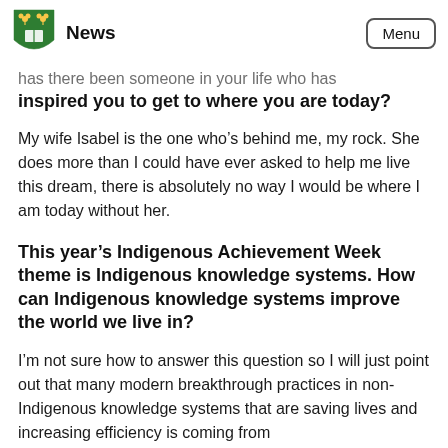News | Menu
has there been someone in your life who has inspired you to get to where you are today?
My wife Isabel is the one who’s behind me, my rock. She does more than I could have ever asked to help me live this dream, there is absolutely no way I would be where I am today without her.
This year’s Indigenous Achievement Week theme is Indigenous knowledge systems. How can Indigenous knowledge systems improve the world we live in?
I’m not sure how to answer this question so I will just point out that many modern breakthrough practices in non-Indigenous knowledge systems that are saving lives and increasing efficiency is coming from